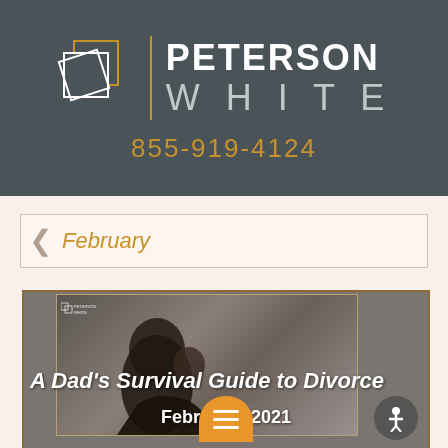[Figure (logo): Peterson White law firm logo with overlapping square shapes and vertical gold divider line on dark gray background]
855-919-4124
February
[Figure (photo): Article card with photo of a father and child, title 'A Dad's Survival Guide to Divorce', dated February 2021, with orange hamburger menu and accessibility icon]